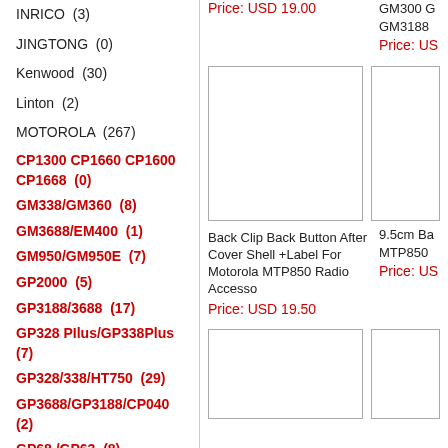INRICO  (3)
JINGTONG  (0)
Kenwood  (30)
Linton  (2)
MOTOROLA  (267)
CP1300 CP1660 CP1600 CP1668  (0)
GM338/GM360  (8)
GM3688/EM400  (1)
GM950/GM950E  (7)
GP2000  (5)
GP3188/3688  (17)
GP328 PIlus/GP338Plus  (7)
GP328/338/HT750  (29)
GP3688/GP3188/CP040  (2)
GP68 /GP63  (8)
GP88/300  (8)
GP88S/GP308  (8)
Price: USD 19.00
GM300 G GM3188 Price: US
[Figure (photo): Product image placeholder for Motorola MTP850 radio accessory]
[Figure (photo): Partial product image placeholder]
Back Clip Back Button After Cover Shell +Label For Motorola MTP850 Radio Accesso
Price: USD 19.50
9.5cm Ba MTP850 Price: US
[Figure (photo): Product image placeholder bottom left]
[Figure (photo): Partial product image placeholder bottom right]